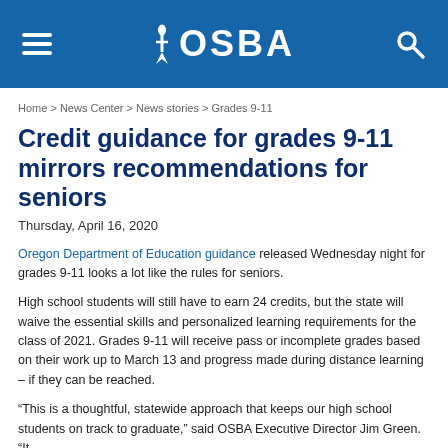OSBA
Home > News Center > News stories > Grades 9-11
Credit guidance for grades 9-11 mirrors recommendations for seniors
Thursday, April 16, 2020
Oregon Department of Education guidance released Wednesday night for grades 9-11 looks a lot like the rules for seniors.
High school students will still have to earn 24 credits, but the state will waive the essential skills and personalized learning requirements for the class of 2021. Grades 9-11 will receive pass or incomplete grades based on their work up to March 13 and progress made during distance learning – if they can be reached.
“This is a thoughtful, statewide approach that keeps our high school students on track to graduate,” said OSBA Executive Director Jim Green. “It